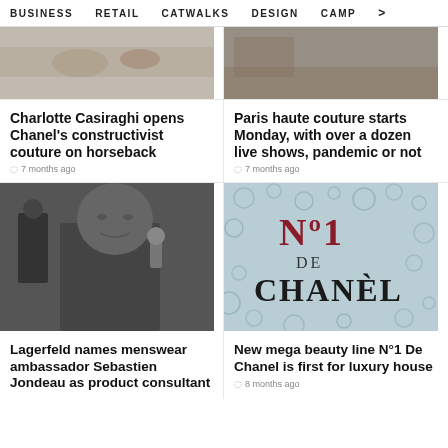BUSINESS   RETAIL   CATWALKS   DESIGN   CAMP >
[Figure (photo): Top portion of a fashion photo, cropped]
Charlotte Casiraghi opens Chanel's constructivist couture on horseback
7 months ago
[Figure (photo): Top portion of a fashion/nature photo, cropped]
Paris haute couture starts Monday, with over a dozen live shows, pandemic or not
7 months ago
[Figure (photo): Black and white portrait of a man in a black jacket, with a Karl Lagerfeld figurine in background]
Lagerfeld names menswear ambassador Sebastien Jondeau as product consultant
[Figure (photo): N°1 De Chanel beauty product packaging with bubbles/spheres in teal background]
New mega beauty line N°1 De Chanel is first for luxury house
8 months ago